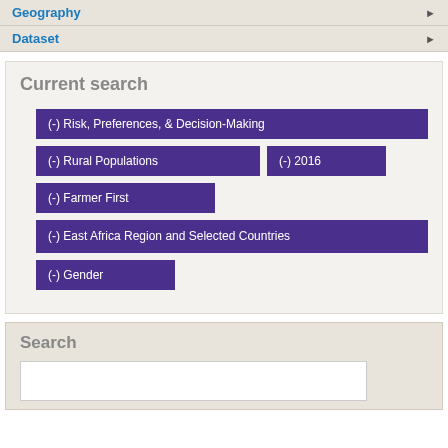Geography ▶
Dataset ▶
Current search
(-) Risk, Preferences, & Decision-Making
(-) Rural Populations
(-) 2016
(-) Farmer First
(-) East Africa Region and Selected Countries
(-) Gender
Search